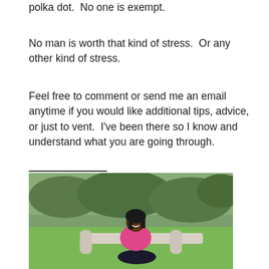polka dot.  No one is exempt.
No man is worth that kind of stress.  Or any other kind of stress.
Feel free to comment or send me an email anytime if you would like additional tips, advice, or just to vent.  I've been there so I know and understand what you are going through.
[Figure (photo): A woman wearing a bright pink top and dark pants, sitting on a white decorative stone bench outdoors, smiling, with green grass and bushes in the background.]